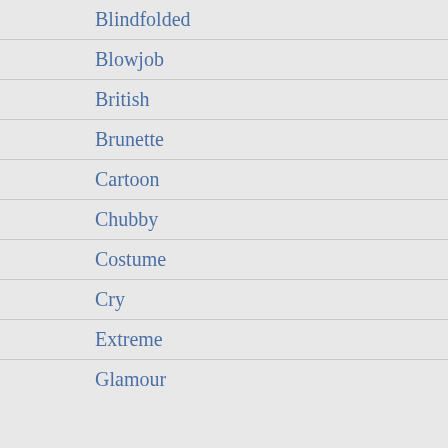Blindfolded
Blowjob
British
Brunette
Cartoon
Chubby
Costume
Cry
Extreme
Glamour